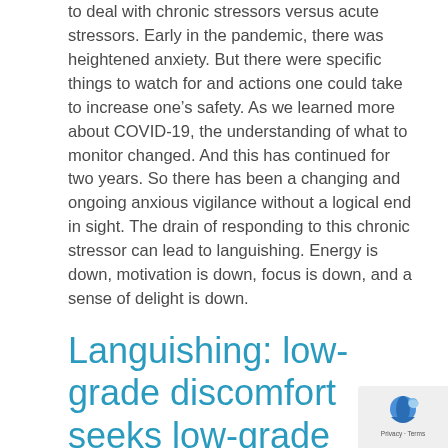to deal with chronic stressors versus acute stressors. Early in the pandemic, there was heightened anxiety. But there were specific things to watch for and actions one could take to increase one's safety. As we learned more about COVID-19, the understanding of what to monitor changed. And this has continued for two years. So there has been a changing and ongoing anxious vigilance without a logical end in sight. The drain of responding to this chronic stressor can lead to languishing. Energy is down, motivation is down, focus is down, and a sense of delight is down.
Languishing: low-grade discomfort seeks low-grade comfort.